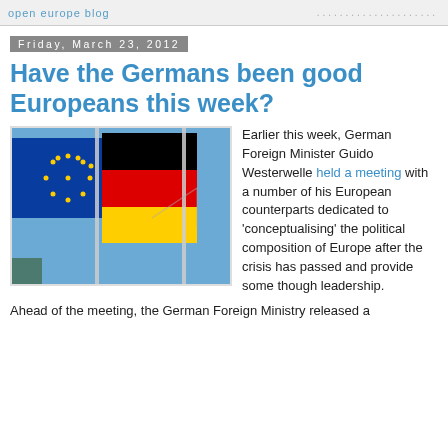Friday, March 23, 2012
Have the Germans been good Europeans this week?
[Figure (photo): Photo of the EU flag and German flag flying side by side against a blue sky, with a construction crane visible in the background.]
Earlier this week, German Foreign Minister Guido Westerwelle held a meeting with a number of his European counterparts dedicated to 'conceptualising' the political composition of Europe after the crisis has passed and provide some though leadership.
Ahead of the meeting, the German Foreign Ministry released a